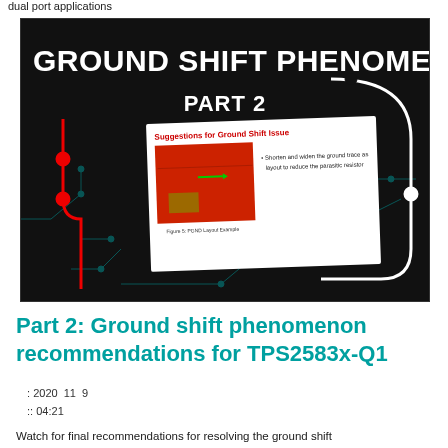dual port applications
[Figure (screenshot): Thumbnail image for 'Ground Shift Phenomenon Part 2' video, showing bold white title text on dark background with circuit board graphics and a tilted inset slide titled 'Suggestions for Ground Shift Issue' containing a PCB layout image (Figure 5: PGND Layout Example) and text 'Shorten and widen the ground trace as layout to reduce the parasitic resistor'. Red and white circuit trace design overlay.]
Part 2: Ground shift phenomenon recommendations for TPS2583x-Q1
: 2020 11 9
:: 04:21
Watch for final recommendations for resolving the ground shift